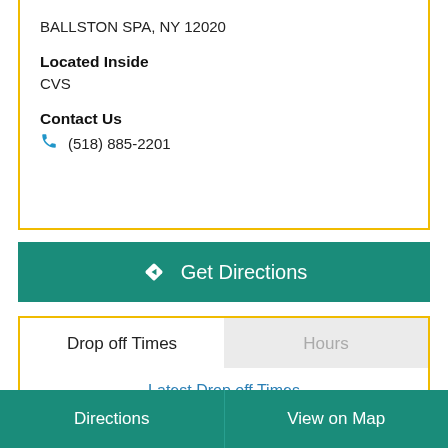BALLSTON SPA, NY 12020
Located Inside
CVS
Contact Us
(518) 885-2201
Get Directions
Drop off Times
Hours
Latest Drop off Times
| Weekday | Ground | Air |
| --- | --- | --- |
| Mon - Fri | 3:00 PM | 3:00 PM |
Directions	View on Map